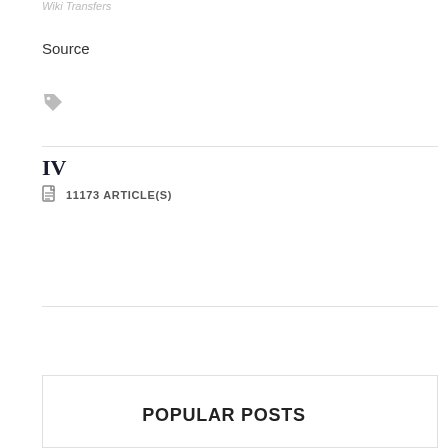Wiki Transfers
Source
[Figure (illustration): Tag/label icon in light grey]
IV
11173 ARTICLE(S)
POPULAR POSTS